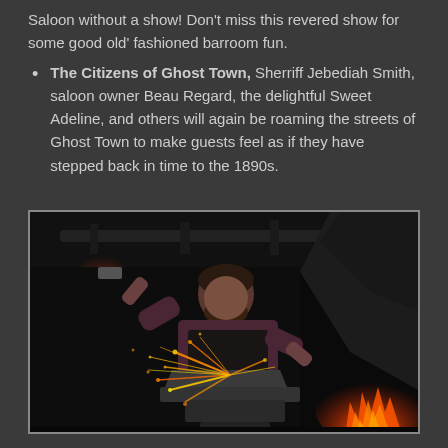Saloon without a show! Don't miss this revered show for some good old' fashioned barroom fun.
The Citizens of Ghost Town, Sherriff Jebediah Smith, saloon owner Beau Regard, the delightful Sweet Adeline, and others will again be roaming the streets of Ghost Town to make guests feel as if they have stepped back in time to the 1890s.
[Figure (photo): A blacksmith working at an anvil, striking metal with a hammer causing sparks to fly, with flames visible in the background right, in a dark forge setting.]